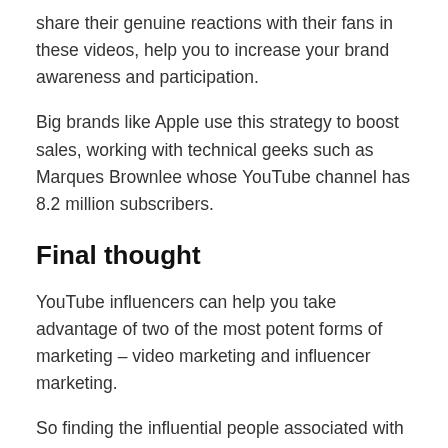share their genuine reactions with their fans in these videos, help you to increase your brand awareness and participation.
Big brands like Apple use this strategy to boost sales, working with technical geeks such as Marques Brownlee whose YouTube channel has 8.2 million subscribers.
Final thought
YouTube influencers can help you take advantage of two of the most potent forms of marketing – video marketing and influencer marketing.
So finding the influential people associated with your niche can help you attract the attention of your potential customers, with influencers able to create realistic and compelling content for your brand.